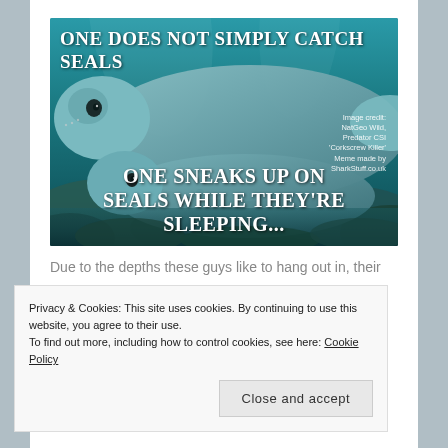[Figure (photo): Meme image showing seals underwater with teal/aqua tones. Top text reads 'ONE DOES NOT SIMPLY CATCH SEALS'. Bottom text reads 'ONE SNEAKS UP ON SEALS WHILE THEY'RE SLEEPING...'. Image credit: NatGeo Wild, Predator CSI 'Corkscrew Killer'. Meme made by SharkStuff.co.uk]
Due to the depths these guys like to hang out in, their
Privacy & Cookies: This site uses cookies. By continuing to use this website, you agree to their use.
To find out more, including how to control cookies, see here: Cookie Policy
Close and accept